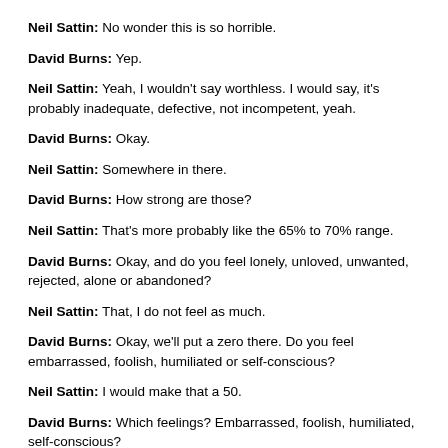Neil Sattin: No wonder this is so horrible.
David Burns: Yep.
Neil Sattin: Yeah, I wouldn't say worthless. I would say, it's probably inadequate, defective, not incompetent, yeah.
David Burns: Okay.
Neil Sattin: Somewhere in there.
David Burns: How strong are those?
Neil Sattin: That's more probably like the 65% to 70% range.
David Burns: Okay, and do you feel lonely, unloved, unwanted, rejected, alone or abandoned?
Neil Sattin: That, I do not feel as much.
David Burns: Okay, we'll put a zero there. Do you feel embarrassed, foolish, humiliated or self-conscious?
Neil Sattin: I would make that a 50.
David Burns: Which feelings? Embarrassed, foolish, humiliated, self-conscious?